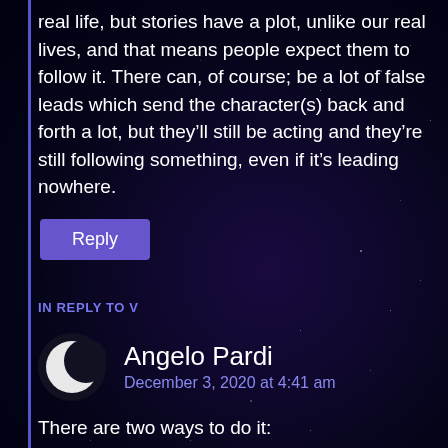real life, but stories have a plot, unlike our real lives, and that means people expect them to follow it. There can, of course; be a lot of false leads which send the character(s) back and forth a lot, but they'll still be acting and they're still following something, even if it's leading nowhere.
Reply
IN REPLY TO V
Angelo Pardi
December 3, 2020 at 4:41 am
There are two ways to do it: